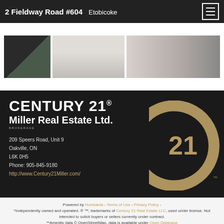2 Fieldway Road #604  Etobicoke
[Figure (photo): Three thumbnail photos of a property/building exterior, arranged horizontally in a white gallery strip.]
[Figure (logo): Century 21 Miller Real Estate Ltd. brokerage banner with black background, white text logo, address info, and gold C21 circular logo mark on the right. Address: 209 Speers Road, Unit 9, Oakville, ON, L6K 0H5. Phone: 905-845-9180. Website: http://www.Century21Miller.com/]
Powered by Homeania - Terms of Use - Privacy Policy - *Independently owned and operated. ® ™, trademarks of Century 21 Real Estate LLC, used under license. Not intended to solicit buyers or sellers currently under contract. **Amenity data © OpenStreetMap, data is available under Open Database